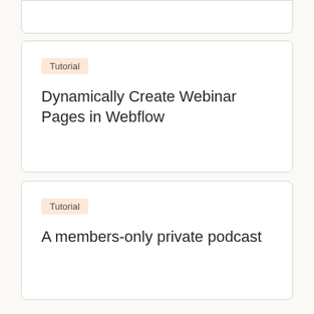(partial card top)
Dynamically Create Webinar Pages in Webflow
A members-only private podcast